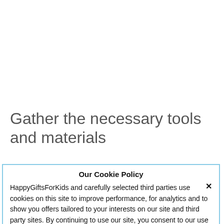Gather the necessary tools and materials
Our Cookie Policy
HappyGiftsForKids and carefully selected third parties use cookies on this site to improve performance, for analytics and to show you offers tailored to your interests on our site and third party sites. By continuing to use our site, you consent to our use of cookies. Privacy Policy